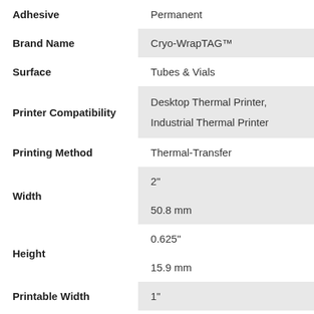| Property | Value |
| --- | --- |
| Adhesive | Permanent |
| Brand Name | Cryo-WrapTAG™ |
| Surface | Tubes & Vials |
| Printer Compatibility | Desktop Thermal Printer, Industrial Thermal Printer |
| Printing Method | Thermal-Transfer |
| Width | 2" / 50.8 mm |
| Height | 0.625" / 15.9 mm |
| Printable Width | 1" |